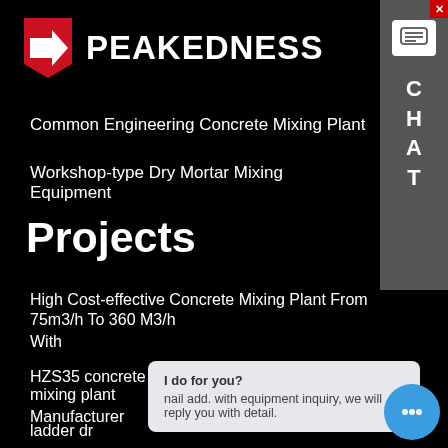[Figure (logo): Peakedness logo with red arrow shield icon and white bold text PEAKEDNESS on black background]
Common Engineering Concrete Mixing Plant
Workshop-type Dry Mortar Mixing Equipment
Projects
High Cost-effective Concrete Mixing Plant From 75m3/h To 360 M3/h
With
HZS35 concrete batching plant mobile concrete mixing plant
Manufacturer
ladder dr...
I do for you?
nail add. with equipment inquiry, we will reply you with detail.